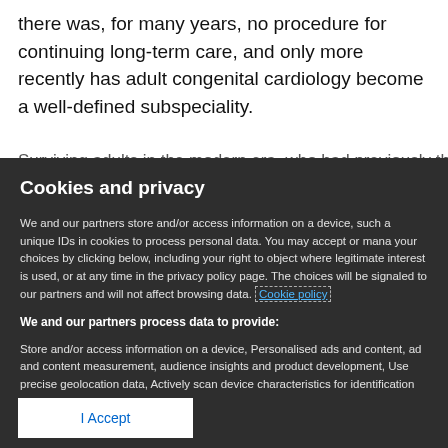there was, for many years, no procedure for continuing long-term care, and only more recently has adult congenital cardiology become a well-defined subspeciality.
Cookies and privacy
We and our partners store and/or access information on a device, such as unique IDs in cookies to process personal data. You may accept or manage your choices by clicking below, including your right to object where legitimate interest is used, or at any time in the privacy policy page. These choices will be signaled to our partners and will not affect browsing data. Cookie policy
We and our partners process data to provide:
Store and/or access information on a device, Personalised ads and content, ad and content measurement, audience insights and product development, Use precise geolocation data, Actively scan device characteristics for identification
List of Partners (vendors)